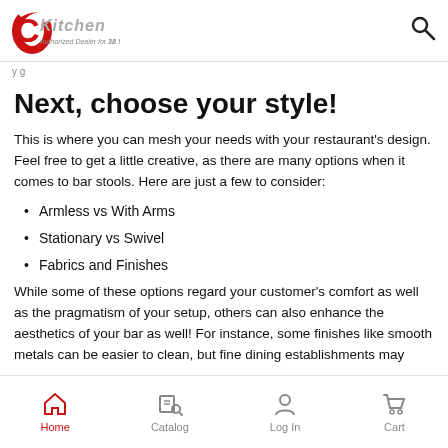CKitchen — Authorized Dealer for 38 Years
y g
Next, choose your style!
This is where you can mesh your needs with your restaurant's design. Feel free to get a little creative, as there are many options when it comes to bar stools. Here are just a few to consider:
Armless vs With Arms
Stationary vs Swivel
Fabrics and Finishes
While some of these options regard your customer's comfort as well as the pragmatism of your setup, others can also enhance the aesthetics of your bar as well! For instance, some finishes like smooth metals can be easier to clean, but fine dining establishments may want a fabric covered seat to
Home | Catalog | Log In | Cart